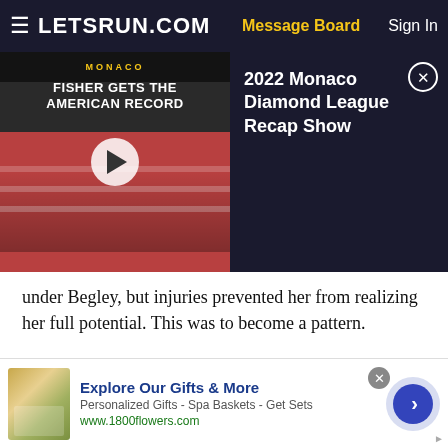LETSRUN.COM  |  Message Board  |  Sign In
[Figure (screenshot): Video thumbnail showing track race with text 'MONACO FISHER GETS THE AMERICAN RECORD' and a play button, alongside dark panel with caption '2022 Monaco Diamond League Recap Show' and close button]
under Begley, but injuries prevented her from realizing her full potential. This was to become a pattern.
In 2011, after running 4:33 for the mile indoors, Lauren sprained her ankle, forcing her to miss USA indoors. The next year, Lauren relocated with Amy to Eugene for the buildup to the Olymp...
[Figure (screenshot): Advertisement banner for 1800flowers.com showing 'Explore Our Gifts & More' with image of spa/gift products, subtext 'Personalized Gifts - Spa Baskets - Get Sets', URL www.1800flowers.com, close button, and a blue arrow navigation button]